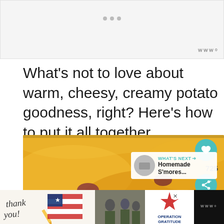[Figure (other): Top advertisement banner placeholder with three gray dots and a watermark logo in the bottom right corner]
What's not to love about warm, cheesy, creamy potato goodness, right? Here's how to put it all together.
[Figure (photo): Close-up photo of a cheesy, creamy potato casserole dish with visible chunks of ham or meat in golden yellow cheese sauce]
[Figure (other): Bottom advertisement banner for Operation Gratitude with 'thank you' text, military image, and star logo on dark background]